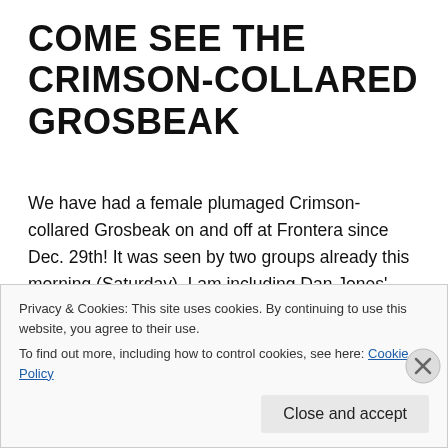COME SEE THE CRIMSON-COLLARED GROSBEAK
We have had a female plumaged Crimson-collared Grosbeak on and off at Frontera since Dec. 29th! It was seen by two groups already this morning (Saturday). I am including Dan Jones' bird list from yesterday so that you can see all the other species that are here as well. It is not the nicest of weather, but if you bundle up in your waterproof jacket, it is a good day to walk in the Thicket.
Privacy & Cookies: This site uses cookies. By continuing to use this website, you agree to their use.
To find out more, including how to control cookies, see here: Cookie Policy